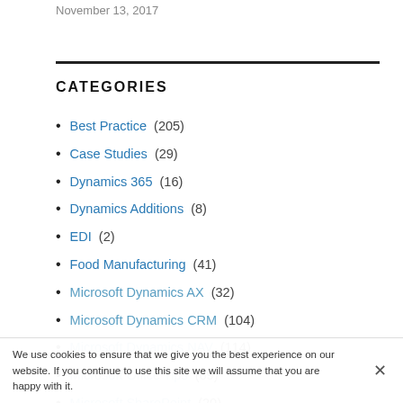November 13, 2017
CATEGORIES
Best Practice (205)
Case Studies (29)
Dynamics 365 (16)
Dynamics Additions (8)
EDI (2)
Food Manufacturing (41)
Microsoft Dynamics AX (32)
Microsoft Dynamics CRM (104)
Microsoft Dynamics NAV (114)
Microsoft Office Tips (69)
Microsoft SharePoint (20)
We use cookies to ensure that we give you the best experience on our website. If you continue to use this site we will assume that you are happy with it.